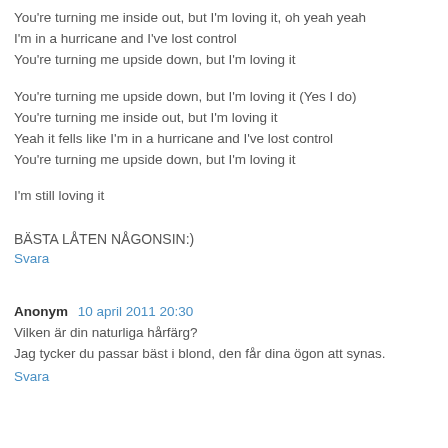You're turning me inside out, but I'm loving it, oh yeah yeah
I'm in a hurricane and I've lost control
You're turning me upside down, but I'm loving it
You're turning me upside down, but I'm loving it (Yes I do)
You're turning me inside out, but I'm loving it
Yeah it fells like I'm in a hurricane and I've lost control
You're turning me upside down, but I'm loving it
I'm still loving it
BÄSTA LÅTEN NÅGONSIN:)
Svara
Anonym  10 april 2011 20:30
Vilken är din naturliga hårfärg?
Jag tycker du passar bäst i blond, den får dina ögon att synas.
Svara